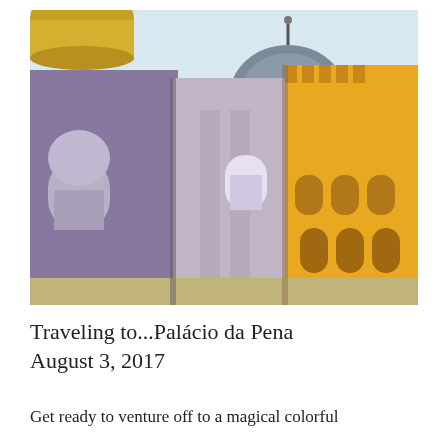[Figure (photo): Photograph of Palácio da Pena (Pena Palace) in Sintra, Portugal, showing the colorful eclectic architecture — a purple/blue tiled facade on the left, ornate stone carvings in the center, a bright yellow section on the right, grey-blue dome in the background center, and a gold dome partially visible at top left.]
Traveling to...Palácio da Pena
August 3, 2017
Get ready to venture off to a magical colorful